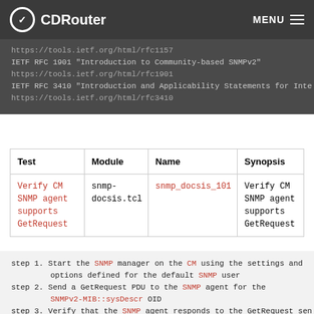CDRouter   MENU
https://tools.ietf.org/html/rfc1157
IETF RFC 1901 "Introduction to Community-based SNMPv2"
https://tools.ietf.org/html/rfc1901
IETF RFC 3410 "Introduction and Applicability Statements for Inte
https://tools.ietf.org/html/rfc3410
| Test | Module | Name | Synopsis |
| --- | --- | --- | --- |
| Verify CM SNMP agent supports GetRequest | snmp-docsis.tcl | snmp_docsis_101 | Verify CM SNMP agent supports GetRequest |
step 1. Start the SNMP manager on the CM using the settings and options defined for the default SNMP user
step 2. Send a GetRequest PDU to the SNMP agent for the SNMPv2-MIB::sysDescr OID
step 3. Verify that the SNMP agent responds to the GetRequest sent by the SNMP manager